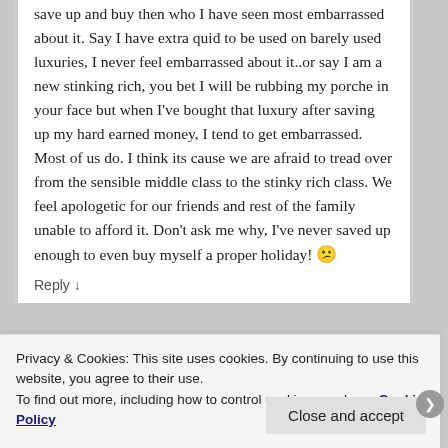save up and buy then who I have seen most embarrassed about it. Say I have extra quid to be used on barely used luxuries, I never feel embarrassed about it..or say I am a new stinking rich, you bet I will be rubbing my porche in your face but when I've bought that luxury after saving up my hard earned money, I tend to get embarrassed. Most of us do. I think its cause we are afraid to tread over from the sensible middle class to the stinky rich class. We feel apologetic for our friends and rest of the family unable to afford it. Don't ask me why, I've never saved up enough to even buy myself a proper holiday! 😕
Reply ↓
Privacy & Cookies: This site uses cookies. By continuing to use this website, you agree to their use.
To find out more, including how to control cookies, see here: Cookie Policy
Close and accept